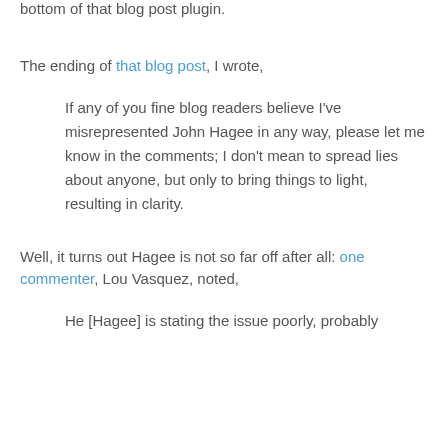bottom of that blog post plugin.
The ending of that blog post, I wrote,
If any of you fine blog readers believe I've misrepresented John Hagee in any way, please let me know in the comments; I don't mean to spread lies about anyone, but only to bring things to light, resulting in clarity.
Well, it turns out Hagee is not so far off after all: one commenter, Lou Vasquez, noted,
He [Hagee] is stating the issue poorly, probably for the sole purpose of it...